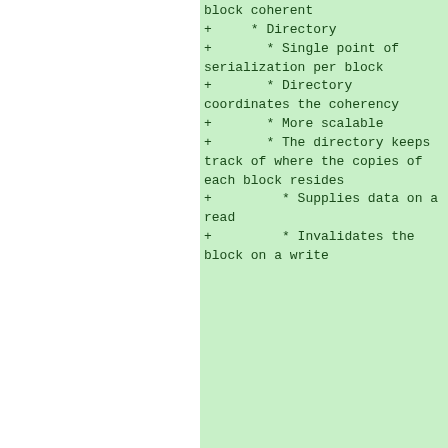block coherent
+     * Directory
+       * Single point of serialization per block
+       * Directory coordinates the coherency
+       * More scalable
+       * The directory keeps track of where the copies of each block resides
+         * Supplies data on a read
+         * Invalidates the block on a write